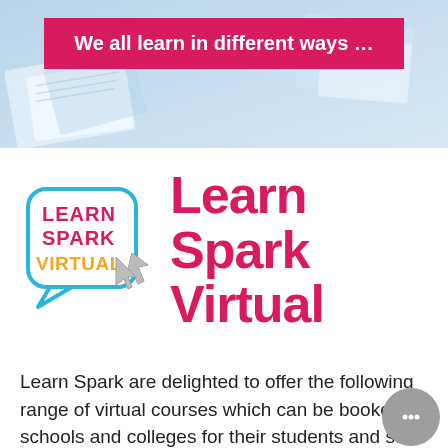[Figure (photo): Blue-toned background hero image with notebooks/stationery, overlaid with a dark pink banner saying 'We all learn in different ways …']
[Figure (logo): Learn Spark Virtual logo: speech bubble outline containing the text LEARN SPARK VIRTUAL with a cursor arrow icon. LEARN in pink, SPARK in pink, VIRTUAL in orange/yellow.]
Learn Spark Virtual
Learn Spark are delighted to offer the following range of virtual courses which can be booked by schools and colleges for their students and staff.